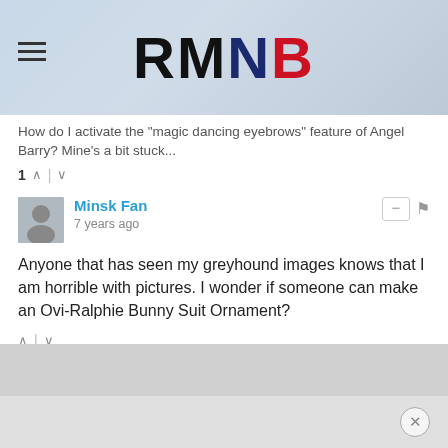RMNB
How do I activate the "magic dancing eyebrows" feature of Angel Barry? Mine's a bit stuck...
1 ^ | v
Minsk Fan
7 years ago
Anyone that has seen my greyhound images knows that I am horrible with pictures. I wonder if someone can make an Ovi-Ralphie Bunny Suit Ornament?
^ | v
✉ Subscribe  ▲ Do Not Sell My Data